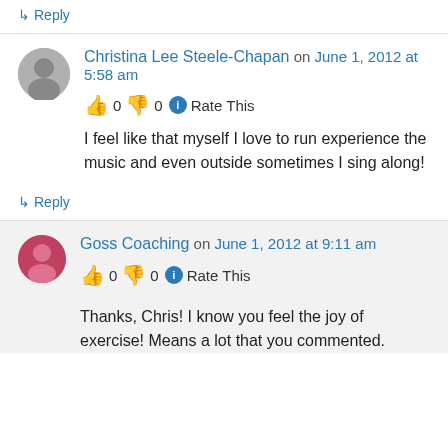↳ Reply
Christina Lee Steele-Chapan on June 1, 2012 at 5:58 am
👍 0 👎 0 ℹ Rate This
I feel like that myself I love to run experience the music and even outside sometimes I sing along!
↳ Reply
Goss Coaching on June 1, 2012 at 9:11 am
👍 0 👎 0 ℹ Rate This
Thanks, Chris! I know you feel the joy of exercise! Means a lot that you commented.